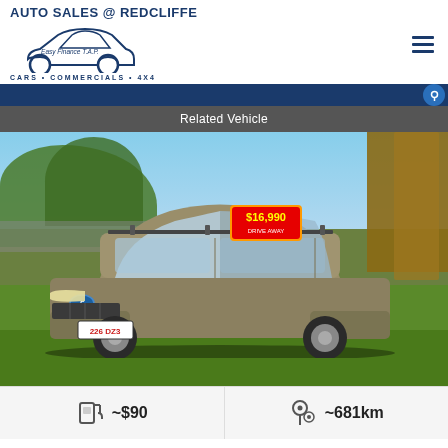[Figure (logo): Auto Sales @ Redcliffe dealership logo with car silhouette and text 'Easy Finance T.A.P', 'CARS • COMMERCIALS • 4X4']
Related Vehicle
[Figure (photo): Photo of a gold/bronze Ford Kuga SUV parked on grass with a price sticker showing $16,990, roof racks, Queensland license plate 226 DZ3]
~$90
~681km